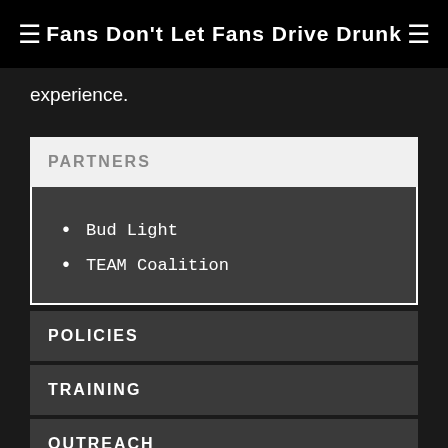Fans Don't Let Fans Drive Drunk
experience.
PARTNERS
Bud Light
TEAM Coalition
POLICIES
TRAINING
OUTREACH
CODE OF CONDUCT